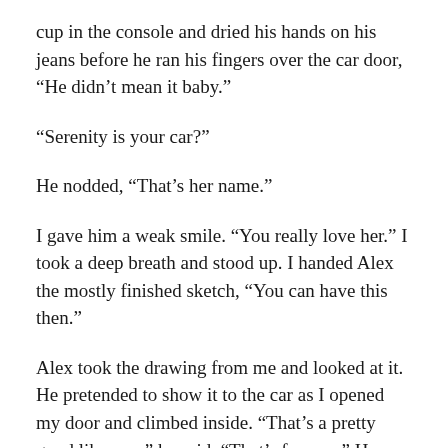cup in the console and dried his hands on his jeans before he ran his fingers over the car door, “He didn’t mean it baby.”
“Serenity is your car?”
He nodded, “That’s her name.”
I gave him a weak smile. “You really love her.” I took a deep breath and stood up. I handed Alex the mostly finished sketch, “You can have this then.”
Alex took the drawing from me and looked at it. He pretended to show it to the car as I opened my door and climbed inside. “That’s a pretty good likeness,” he said. “That’s for you.” He nodded to the cup in the middle.
“What is it?”